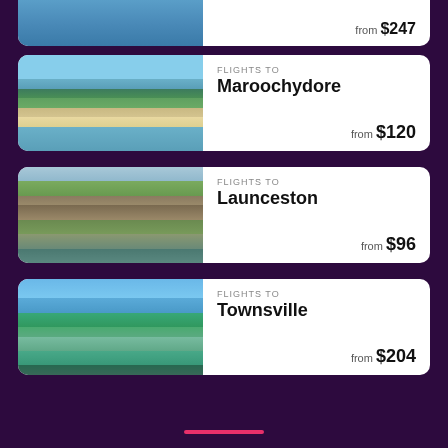[Figure (photo): Partial aerial photo of a coastal city (top card, partially visible)]
from $247
[Figure (photo): Aerial photo of Maroochydore coastline with beach, water and city buildings]
FLIGHTS TO Maroochydore from $120
[Figure (photo): Aerial photo of Launceston with hills and harbor]
FLIGHTS TO Launceston from $96
[Figure (photo): Aerial photo of Townsville coastline with ocean and city]
FLIGHTS TO Townsville from $204